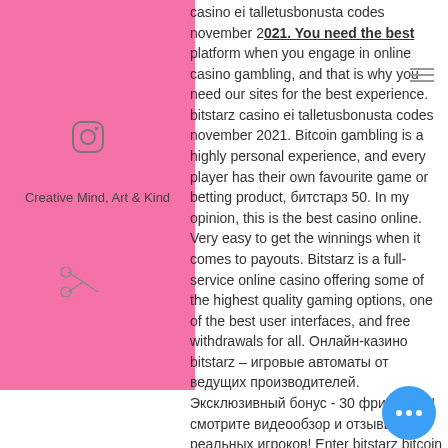[Figure (other): Pink decorative block on the left side with overlay text 'Creative Mind, Art & Kind' and Instagram icon]
casino ei talletusbonusta codes november 2021. You need the best platform when you engage in online casino gambling, and that is why you need our sites for the best experience. bitstarz casino ei talletusbonusta codes november 2021. Bitcoin gambling is a highly personal experience, and every player has their own favourite game or betting product, битстарз 50. In my opinion, this is the best casino online. Very easy to get the winnings when it comes to payouts. Bitstarz is a full-service online casino offering some of the highest quality gaming options, one of the best user interfaces, and free withdrawals for all. Онлайн-казино bitstarz – игровые автоматы от ведущих производителей. Эксклюзивный бонус - 30 фриспинов! смотрите видеообзор и отзывы реальных игроков! Enter bitstarz bitcoin casino – a platform that rose up to challenge by blending online gambling both regular and cryptocurrencies, making a